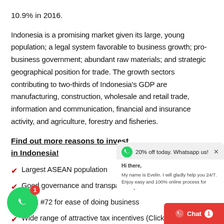10.9% in 2016.
Indonesia is a promising market given its large, young population; a legal system favorable to business growth; pro-business government; abundant raw materials; and strategic geographical position for trade. The growth sectors contributing to two-thirds of Indonesia’s GDP are manufacturing, construction, wholesale and retail trade, information and communication, financial and insurance activity, and agriculture, forestry and fisheries.
Find out more reasons to invest in Indonesia!
Largest ASEAN population
Good governance and transparency
Rank #72 for ease of doing business
Wide range of attractive tax incentives (Click for details)